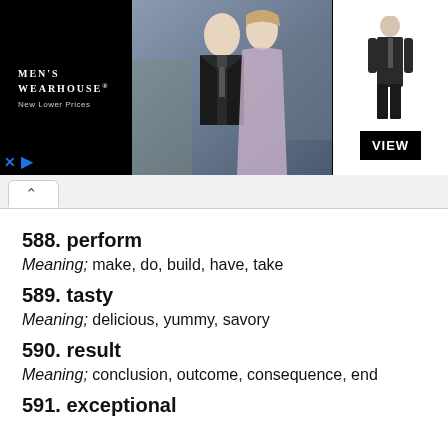[Figure (photo): Men's Wearhouse advertisement banner showing a couple in formal wear, a man in a suit figure, and a VIEW button]
588. perform
Meaning; make, do, build, have, take
589. tasty
Meaning; delicious, yummy, savory
590. result
Meaning; conclusion, outcome, consequence, end
591. exceptional